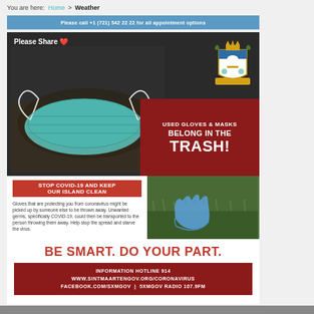You are here: Home > Weather
Please call +1 (721) 542 22 22 for all appointment options
[Figure (infographic): Government infographic poster about COVID-19 mask and glove disposal. Shows a used face mask on dark ground with text 'Used Gloves & Masks Belong In The Trash!', a coat of arms, a photo of a blue latex glove on grass, and public health messaging.]
BE SMART. DO YOUR PART.
INFORMATION HOTLINE 914
WWW.SINTMAARTENGOV.ORG/CORONAVIRUS
FACEBOOK.COM/SXMGOV | 5XMGOV RADIO 107.9FM